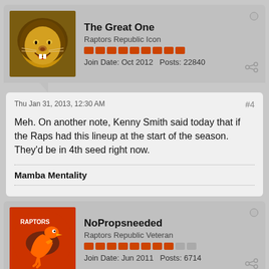[Figure (photo): Lion avatar for user The Great One]
The Great One
Raptors Republic Icon
Join Date: Oct 2012  Posts: 22840
Thu Jan 31, 2013, 12:30 AM  #4
Meh. On another note, Kenny Smith said today that if the Raps had this lineup at the start of the season. They'd be in 4th seed right now.
Mamba Mentality
[Figure (photo): Raptors logo avatar for user NoPropsneeded]
NoPropsneeded
Raptors Republic Veteran
Join Date: Jun 2011  Posts: 6714
Thu Jan 31, 2013, 12:33 AM  #5